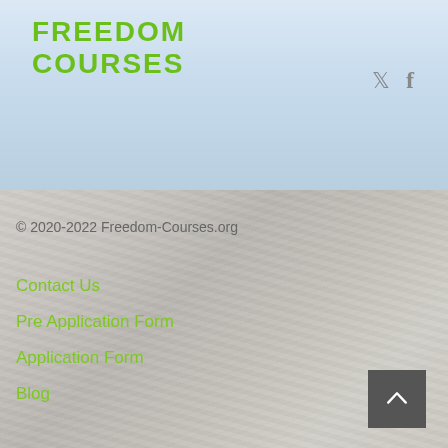FREEDOM COURSES
[Figure (illustration): Twitter and Facebook social media icons in gray]
© 2020-2022 Freedom-Courses.org
Contact Us
Pre Application Form
Application Form
Blog
[Figure (illustration): Scroll to top button — dark gray square with white upward chevron arrow]